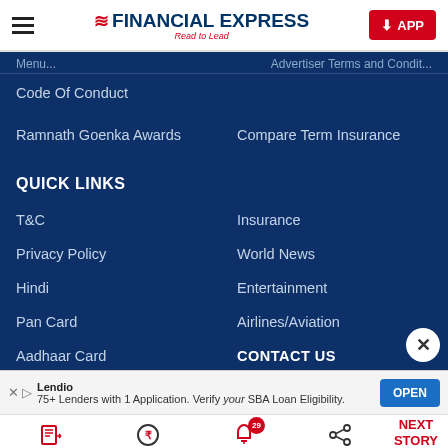Financial Express – Read to Lead
Code Of Conduct
Ramnath Goenka Awards
Compare Term Insurance
QUICK LINKS
T&C
Insurance
Privacy Policy
World News
Hindi
Entertainment
Pan Card
Airlines/Aviation
Aadhaar Card
CONTACT US
Lendio – 75+ Lenders with 1 Application. Verify your SBA Loan Eligibility. OPEN
Latest | Money | Top News 29 | Share | NEXT STORY